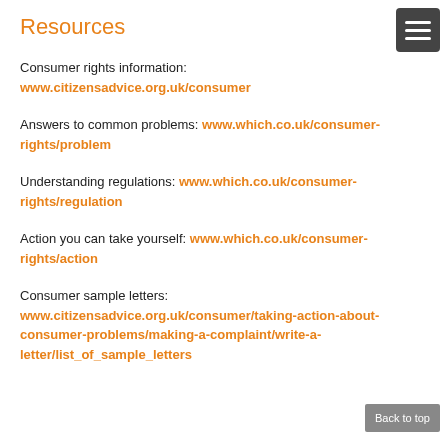Resources
Consumer rights information: www.citizensadvice.org.uk/consumer
Answers to common problems: www.which.co.uk/consumer-rights/problem
Understanding regulations: www.which.co.uk/consumer-rights/regulation
Action you can take yourself: www.which.co.uk/consumer-rights/action
Consumer sample letters: www.citizensadvice.org.uk/consumer/taking-action-about-consumer-problems/making-a-complaint/write-a-letter/list_of_sample_letters